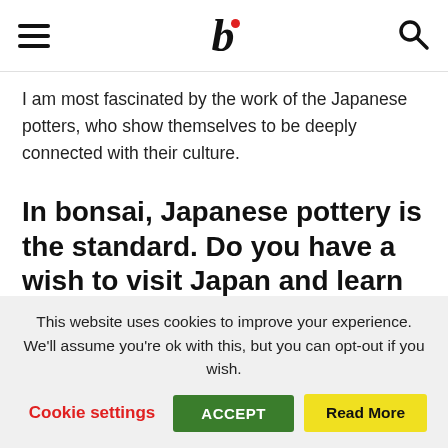b [site logo with navigation hamburger menu and search icon]
I am most fascinated by the work of the Japanese potters, who show themselves to be deeply connected with their culture.
In bonsai, Japanese pottery is the standard. Do you have a wish to visit Japan and learn from their pottery?
It would be a great honour for me to learn pottery skills
This website uses cookies to improve your experience. We'll assume you're ok with this, but you can opt-out if you wish.
Cookie settings  ACCEPT  Read More